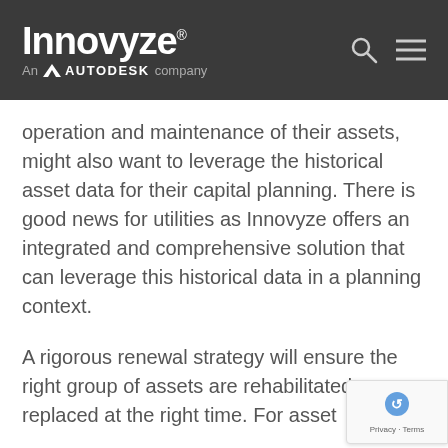Innovyze® — An AUTODESK company
operation and maintenance of their assets, might also want to leverage the historical asset data for their capital planning. There is good news for utilities as Innovyze offers an integrated and comprehensive solution that can leverage this historical data in a planning context.
A rigorous renewal strategy will ensure the right group of assets are rehabilitated or replaced at the right time. For asset